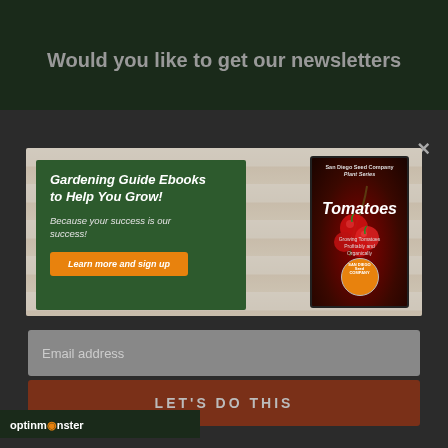Would you like to get our newsletters
[Figure (screenshot): Newsletter signup popup for San Diego Seed Company showing gardening guide ebook promotion with tomato book cover image, green promotional panel with 'Gardening Guide Ebooks to Help You Grow!' heading, italic body text 'Because your success is our success!', and orange 'Learn more and sign up' button]
Email address
LET'S DO THIS
optinmonster